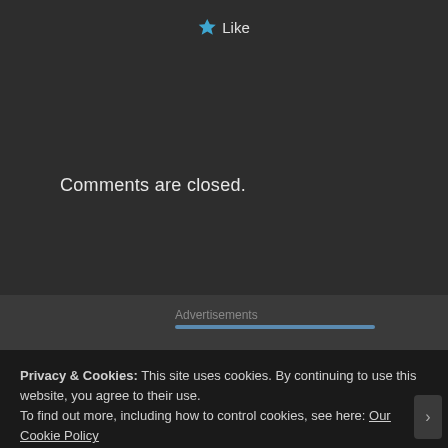[Figure (screenshot): Blue star icon followed by 'Like' text label in a dark-themed UI]
Comments are closed.
Advertisements
Privacy & Cookies: This site uses cookies. By continuing to use this website, you agree to their use.
To find out more, including how to control cookies, see here: Our Cookie Policy
Close and accept